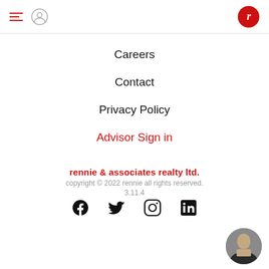rennie navigation header with hamburger menu, user icon, and logo
Careers
Contact
Privacy Policy
Advisor Sign in
rennie & associates realty ltd.
copyright © 2022 rennie all rights reserved. 3.11.4
[Figure (other): Social media icons row: Facebook, Twitter, Instagram, LinkedIn]
[Figure (photo): Circular avatar photo of a person in a dark jacket]